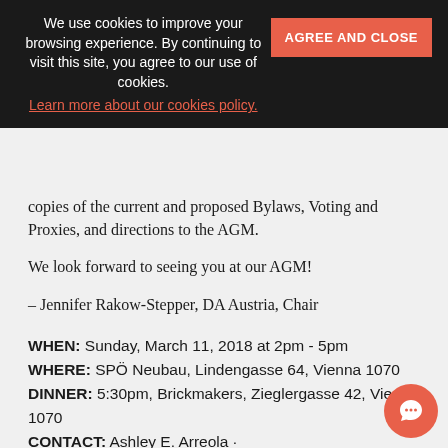We use cookies to improve your browsing experience. By continuing to visit this site, you agree to our use of cookies. Learn more about our cookies policy. [AGREE AND CLOSE]
copies of the current and proposed Bylaws, Voting and Proxies, and directions to the AGM.
We look forward to seeing you at our AGM!
– Jennifer Rakow-Stepper, DA Austria, Chair
WHEN: Sunday, March 11, 2018 at 2pm - 5pm
WHERE: SPÖ Neubau, Lindengasse 64, Vienna 1070
DINNER: 5:30pm, Brickmakers, Zieglergasse 42, Vienna 1070
CONTACT: Ashley E. Arreola · ashley_arreola@yahoo.com · +436503749481
RSVP: Annual General Meeting Post-AGM Dinner